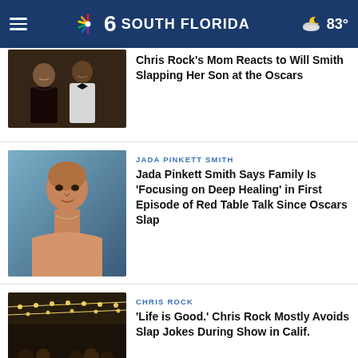NBC 6 South Florida — 83°
[Figure (photo): Thumbnail photo of Chris Rock's mother and Chris Rock at an event]
Chris Rock's Mom Reacts to Will Smith Slapping Her Son at the Oscars
[Figure (photo): Thumbnail photo of Jada Pinkett Smith with shaved head at an event]
JADA PINKETT SMITH — Jada Pinkett Smith Says Family Is 'Focusing on Deep Healing' in First Episode of Red Table Talk Since Oscars Slap
[Figure (photo): Thumbnail photo of outdoor crowd scene at night with string lights]
CHRIS ROCK — 'Life is Good.' Chris Rock Mostly Avoids Slap Jokes During Show in Calif.